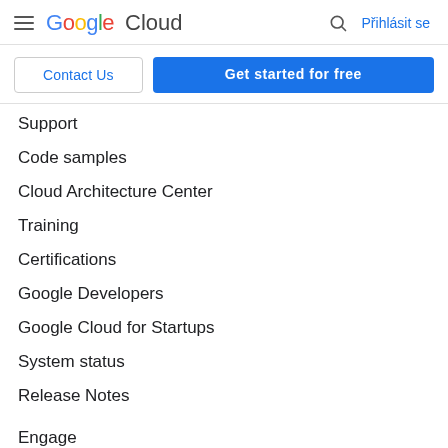Google Cloud — Přihlásit se
Contact Us | Get started for free
Support
Code samples
Cloud Architecture Center
Training
Certifications
Google Developers
Google Cloud for Startups
System status
Release Notes
Engage